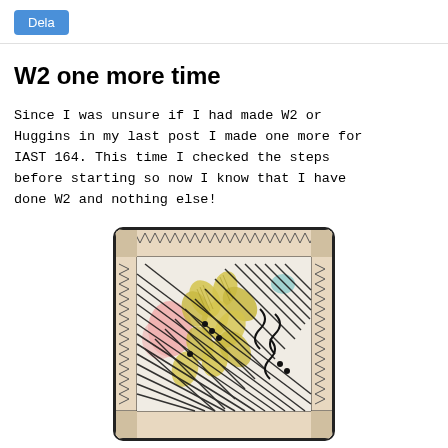Dela
W2 one more time
Since I was unsure if I had made W2 or Huggins in my last post I made one more for IAST 164. This time I checked the steps before starting so now I know that I have done W2 and nothing else!
[Figure (photo): A zentangle art tile featuring W2 pattern with woven/lattice black and white design, yellow leaf-like shapes, pink floral elements, teal accents, and a decorative herringbone/chevron border around the edges.]